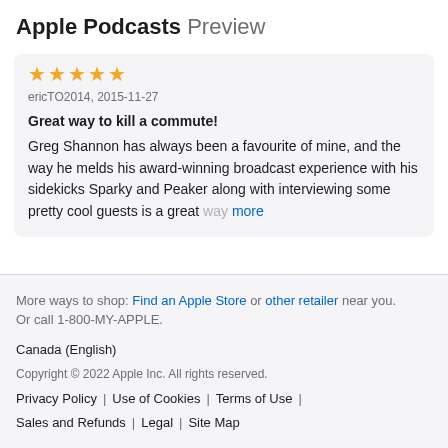Apple Podcasts Preview
ericTO2014, 2015-11-27
Great way to kill a commute!
Greg Shannon has always been a favourite of mine, and the way he melds his award-winning broadcast experience with his sidekicks Sparky and Peaker along with interviewing some pretty cool guests is a great way more
More ways to shop: Find an Apple Store or other retailer near you. Or call 1-800-MY-APPLE.
Canada (English)
Copyright © 2022 Apple Inc. All rights reserved.
Privacy Policy | Use of Cookies | Terms of Use | Sales and Refunds | Legal | Site Map